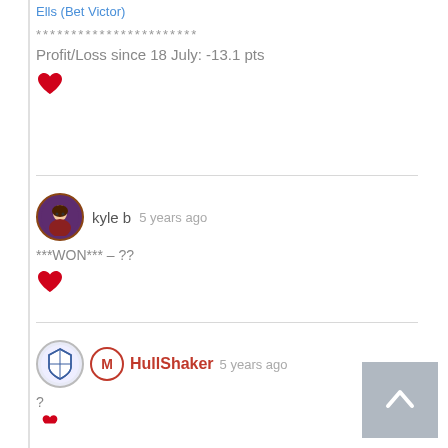Ells (Bet Victor)
***********************
Profit/Loss since 18 July: -13.1 pts
[Figure (illustration): Red heart like icon]
kyle b  5 years ago
***WON*** – ??
[Figure (illustration): Red heart like icon]
HullShaker  5 years ago
?
[Figure (illustration): Red heart like icon (partially visible)]